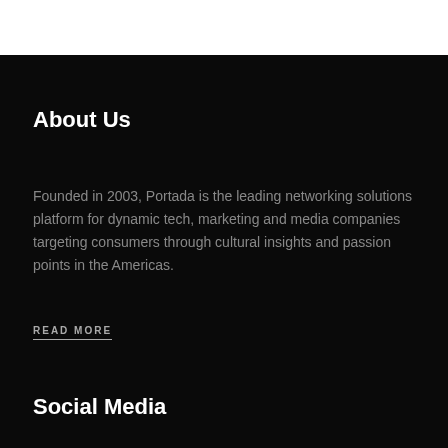About Us
Founded in 2003, Portada is the leading networking solutions platform for dynamic tech, marketing and media companies targeting consumers through cultural insights and passion points in the Americas.
READ MORE
Social Media